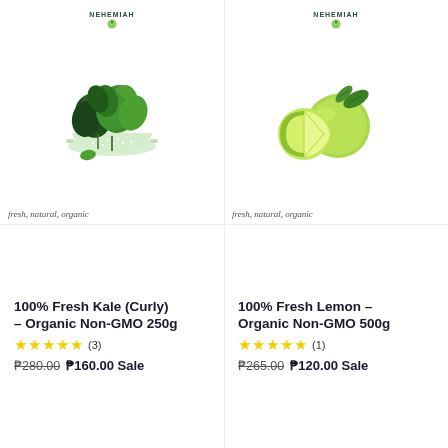[Figure (photo): Photo of fresh curly kale in a colander with Nehemiah logo above and tagline 'fresh, natural, organic' below]
[Figure (photo): Photo of fresh lemon / lime fruits with Nehemiah logo above and tagline 'fresh, natural, organic' below]
100% Fresh Kale (Curly) - Organic Non-GMO 250g
★★★★★ (3)
₱280.00 ₱160.00 Sale
100% Fresh Lemon – Organic Non-GMO 500g
★★★★★ (1)
₱265.00 ₱120.00 Sale
[Figure (photo): Photo of fresh romaine lettuce with Nehemiah logo above and tagline 'fresh, natural, organic' below]
[Figure (photo): Photo of fresh celery stalks with Nehemiah logo above and tagline 'fresh, natural, organic' below]